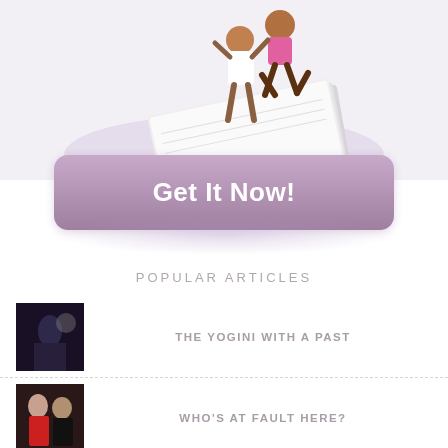[Figure (illustration): A book/guide product image showing a couple, with a woman jumping into a man's arms, against a white background. The book is shown at an angle.]
Get It Now!
POPULAR ARTICLES
THE YOGINI WITH A PAST
WHO'S AT FAULT HERE?
THERE'S MORE TO REMEMBER AND SEE MORE CLEARLY? REALLY?
YES! YOU CAN EXPERIENCE